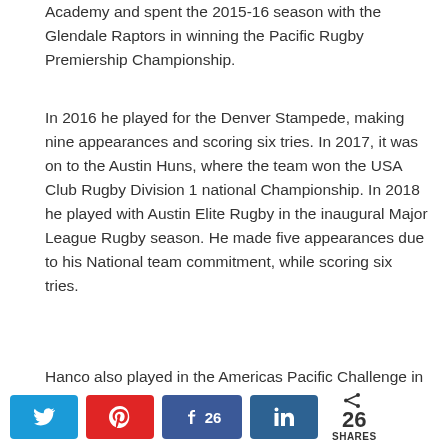Academy and spent the 2015-16 season with the Glendale Raptors in winning the Pacific Rugby Premiership Championship.
In 2016 he played for the Denver Stampede, making nine appearances and scoring six tries. In 2017, it was on to the Austin Huns, where the team won the USA Club Rugby Division 1 national Championship. In 2018 he played with Austin Elite Rugby in the inaugural Major League Rugby season. He made five appearances due to his National team commitment, while scoring six tries.
Hanco also played in the Americas Pacific Challenge in 2016, 2017 and in 2018 for the USA Selects. On February 27, 2016 he made his debut for the Eagles (No.